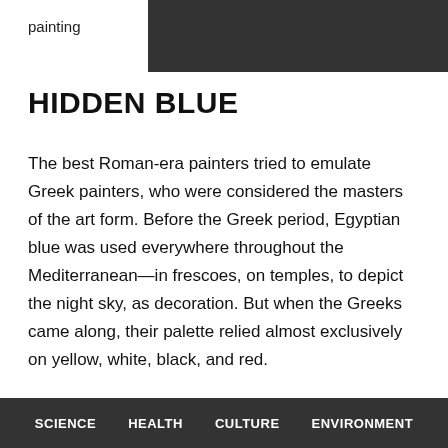painting
HIDDEN BLUE
The best Roman-era painters tried to emulate Greek painters, who were considered the masters of the art form. Before the Greek period, Egyptian blue was used everywhere throughout the Mediterranean—in frescoes, on temples, to depict the night sky, as decoration. But when the Greeks came along, their palette relied almost exclusively on yellow, white, black, and red.
“When you look at the Tebtunis portraits we studied, that’s all you see, those four colors,” Walton says. “But when we started doing our analysis, all of a sudden we
SCIENCE   HEALTH   CULTURE   ENVIRONMENT